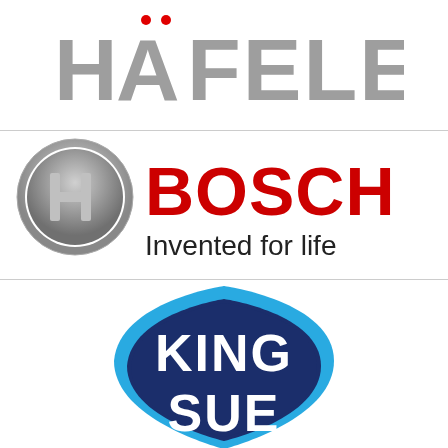[Figure (logo): Häfele logo in gray with red umlaut dots]
[Figure (logo): Bosch logo with circular emblem and 'Invented for life' tagline]
[Figure (logo): King Sue shield logo in blue and navy]